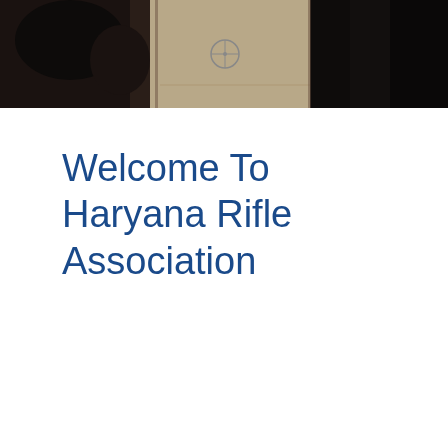[Figure (photo): Photograph banner showing shooting equipment/rifle gear on a floor, dark objects and what appears to be a target or scope in background, warm beige/tan floor]
Welcome To Haryana Rifle Association